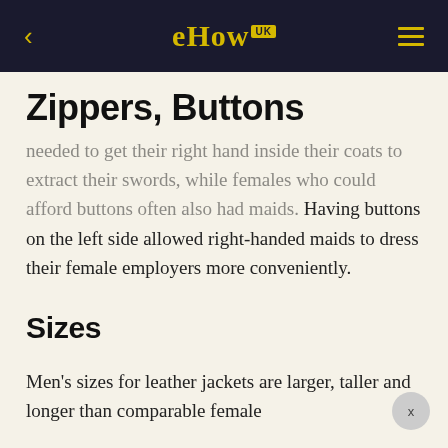eHow UK
Zippers, Buttons
needed to get their right hand inside their coats to extract their swords, while females who could afford buttons often also had maids. Having buttons on the left side allowed right-handed maids to dress their female employers more conveniently.
Sizes
Men's sizes for leather jackets are larger, taller and longer than comparable female